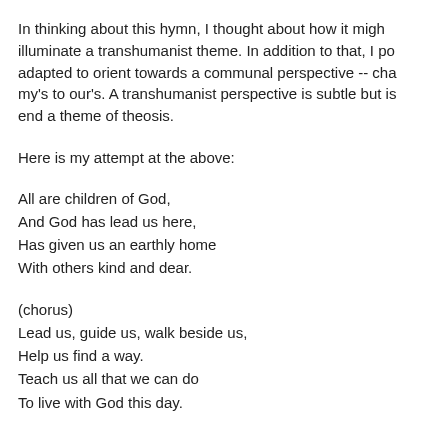In thinking about this hymn, I thought about how it might illuminate a transhumanist theme. In addition to that, I po adapted to orient towards a communal perspective -- cha my's to our's. A transhumanist perspective is subtle but is end a theme of theosis.
Here is my attempt at the above:
All are children of God,
And God has lead us here,
Has given us an earthly home
With others kind and dear.
(chorus)
Lead us, guide us, walk beside us,
Help us find a way.
Teach us all that we can do
To live with God this day.